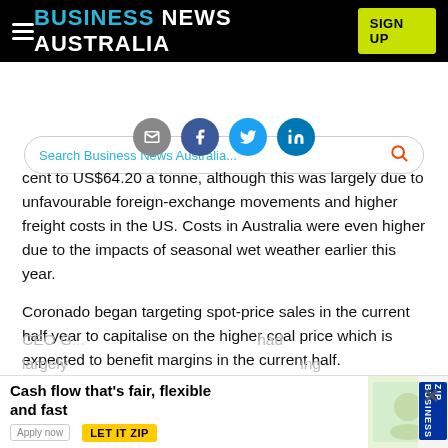BUSINESS NEWS AUSTRALIA
[Figure (screenshot): Search bar with text 'Search Business News Australia...' and search icon]
[Figure (infographic): Social sharing icons row: email, facebook, twitter, linkedin]
cent to US$64.20 a tonne, although this was largely due to unfavourable foreign-exchange movements and higher freight costs in the US. Costs in Australia were even higher due to the impacts of seasonal wet weather earlier this year.
Coronado began targeting spot-price sales in the current half year to capitalise on the higher coal price which is expected to benefit margins in the current half.
The average coal sale price improved by the September quarter, with its Australian operations achieving US$117 per metric tonne.
CEO G... had largely... ing
[Figure (screenshot): Advertisement banner: 'Cash flow that's fair, flexible and fast' with LET IT ZIP badge and Zip Business logo, close button]